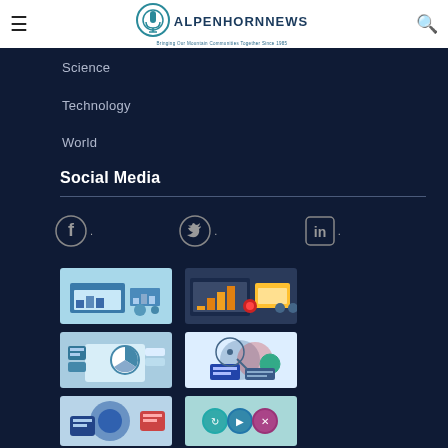AlpenhornNews — Bringing Our Mountain Communities Together Since 1985
Science
Technology
World
Social Media
[Figure (illustration): Facebook, Twitter, and LinkedIn social media icons]
[Figure (illustration): Thumbnail image 1: analytics dashboard with charts on laptop/tablet]
[Figure (illustration): Thumbnail image 2: bar chart analytics on mobile/tablet devices]
[Figure (illustration): Thumbnail image 3: person analyzing pie chart data on tablet]
[Figure (illustration): Thumbnail image 4: person analyzing data with magnifying glass]
[Figure (illustration): Thumbnail image 5: partial - person with SEO analytics]
[Figure (illustration): Thumbnail image 6: partial - social media icons]